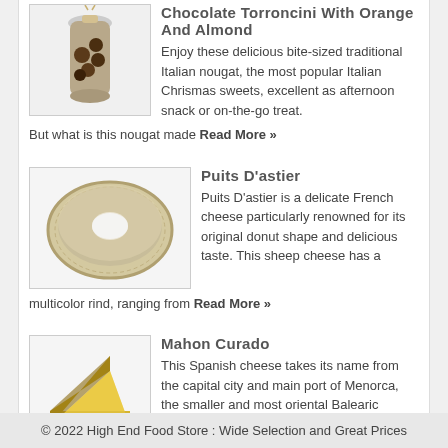Chocolate Torroncini With Orange And Almond
Enjoy these delicious bite-sized traditional Italian nougat, the most popular Italian Chrismas sweets, excellent as afternoon snack or on-the-go treat. But what is this nougat made Read More »
[Figure (photo): Bag of chocolate torroncini candy]
Puits D'astier
Puits D'astier is a delicate French cheese particularly renowned for its original donut shape and delicious taste. This sheep cheese has a multicolor rind, ranging from Read More »
[Figure (photo): Donut-shaped Puits D'astier cheese]
Mahon Curado
This Spanish cheese takes its name from the capital city and main port of Menorca, the smaller and most oriental Balearic island. The name also designates Read More »
[Figure (photo): Wedge of Mahon Curado cheese]
© 2022 High End Food Store : Wide Selection and Great Prices